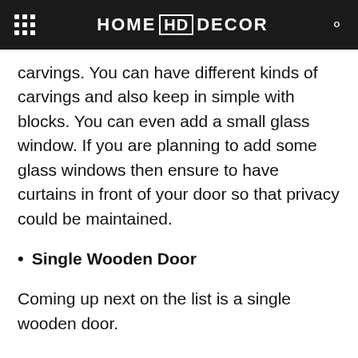HOME HD DECOR
carvings. You can have different kinds of carvings and also keep in simple with blocks. You can even add a small glass window. If you are planning to add some glass windows then ensure to have curtains in front of your door so that privacy could be maintained.
Single Wooden Door
Coming up next on the list is a single wooden door.